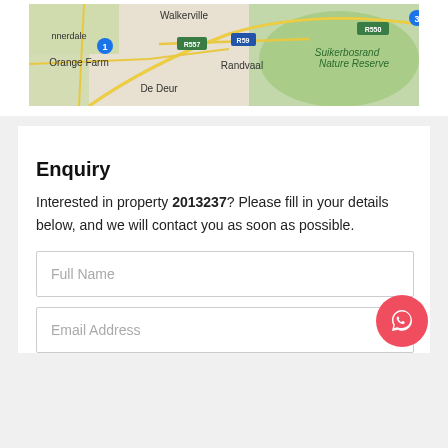[Figure (map): Google map showing area around Orange Farm, Walkerville, De Deur, Randvaal, Suikerbosrand Nature Reserve with roads R557, R59, R550 marked]
Enquiry
Interested in property 2013237? Please fill in your details below, and we will contact you as soon as possible.
Full Name
Email Address